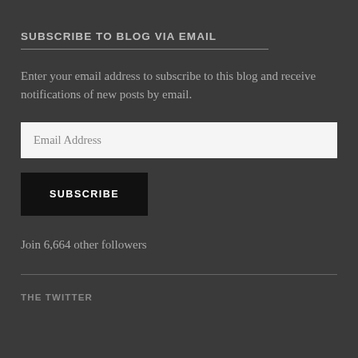SUBSCRIBE TO BLOG VIA EMAIL
Enter your email address to subscribe to this blog and receive notifications of new posts by email.
Email Address
SUBSCRIBE
Join 6,664 other followers
THE TWITTER